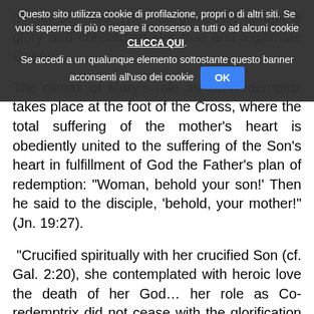of Her sorrows. The Fiat gave Her complete glory and constituted Her true and legitimate Queen.
The climax of Mary’s role as Co-Redemptrix takes place at the foot of the Cross, where the total suffering of the mother’s heart is obediently united to the suffering of the Son’s heart in fulfillment of God the Father’s plan of redemption: “Woman, behold your son!’ Then he said to the disciple, ‘behold, your mother!” (Jn. 19:27).
“Crucified spiritually with her crucified Son (cf. Gal. 2:20), she contemplated with heroic love the death of her God… her role as Co-redemptrix did not cease with the glorification of her Son” (John Paul II, in an Address at the Marian shrine in Guayaquil, Ecuador on January 31, 1985,).
As to Eve, so to Mary, the new Eve, God said: " with pain you will give birth to children" (Gen 3: 6). In fact, the Virgin Mary with